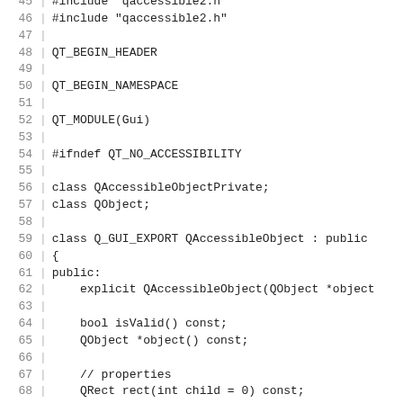Source code listing lines 45-75, C++ header file with QAccessibleObject class definition